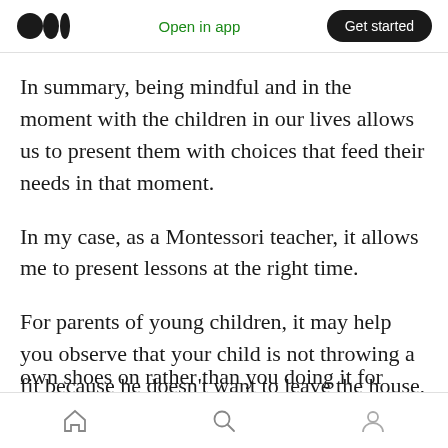Open in app | Get started
In summary, being mindful and in the moment with the children in our lives allows us to present them with choices that feed their needs in that moment.
In my case, as a Montessori teacher, it allows me to present lessons at the right time.
For parents of young children, it may help you observe that your child is not throwing a fit because he doesn’t want to leave the house, perhaps he just wants the opportunity to put his own shoes on rather than you doing it for him. In
Home | Search | Profile